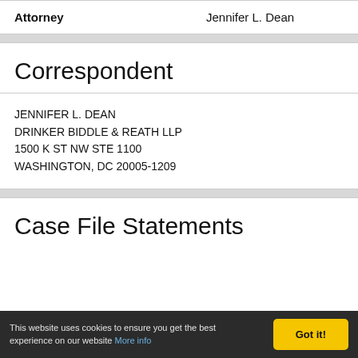Attorney    Jennifer L. Dean
Correspondent
JENNIFER L. DEAN
DRINKER BIDDLE & REATH LLP
1500 K ST NW STE 1100
WASHINGTON, DC 20005-1209
Case File Statements
This website uses cookies to ensure you get the best experience on our website More info